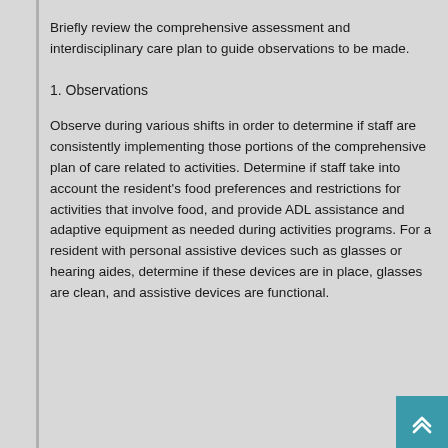Briefly review the comprehensive assessment and interdisciplinary care plan to guide observations to be made.
1. Observations
Observe during various shifts in order to determine if staff are consistently implementing those portions of the comprehensive plan of care related to activities. Determine if staff take into account the resident's food preferences and restrictions for activities that involve food, and provide ADL assistance and adaptive equipment as needed during activities programs. For a resident with personal assistive devices such as glasses or hearing aides, determine if these devices are in place, glasses are clean, and assistive devices are functional.